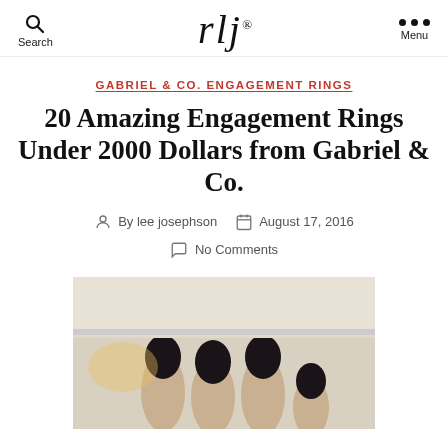rlj — Search | Menu
GABRIEL & CO. ENGAGEMENT RINGS
20 Amazing Engagement Rings Under 2000 Dollars from Gabriel & Co.
By lee josephson  August 17, 2016  No Comments
[Figure (photo): Close-up photo of a hand with dark nail polish holding or near an engagement ring display box]